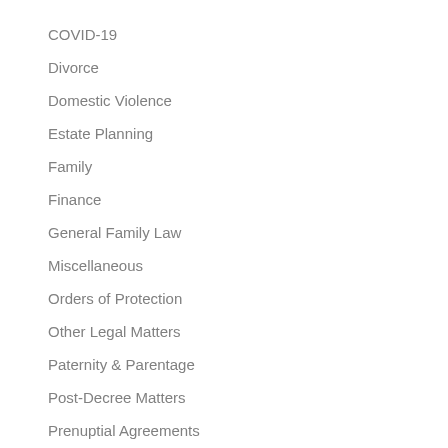COVID-19
Divorce
Domestic Violence
Estate Planning
Family
Finance
General Family Law
Miscellaneous
Orders of Protection
Other Legal Matters
Paternity & Parentage
Post-Decree Matters
Prenuptial Agreements